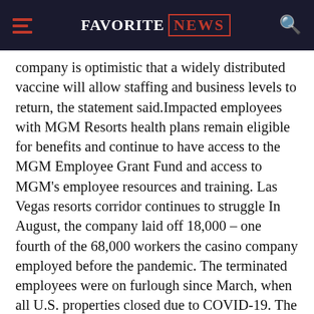FAVORITE NEWS
company is optimistic that a widely distributed vaccine will allow staffing and business levels to return, the statement said.Impacted employees with MGM Resorts health plans remain eligible for benefits and continue to have access to the MGM Employee Grant Fund and access to MGM's employee resources and training. Las Vegas resorts corridor continues to struggle In August, the company laid off 18,000 – one fourth of the 68,000 workers the casino company employed before the pandemic. The terminated employees were on furlough since March, when all U.S. properties closed due to COVID-19. The layoffs come five months after the pandemic shuttered the Las Vegas Strip and resorts across the U.S., bringing the tourism economy to a halt and